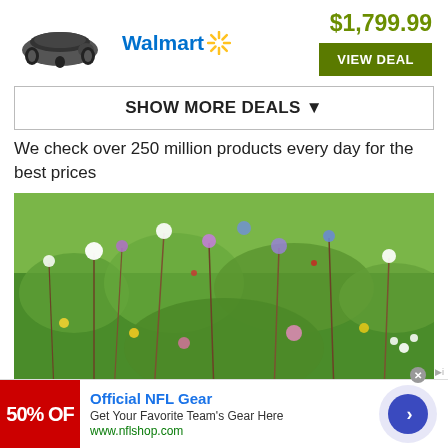[Figure (photo): Robotic lawn mower product image]
Walmart
$1,799.99
VIEW DEAL
SHOW MORE DEALS ▼
We check over 250 million products every day for the best prices
[Figure (photo): Wildflower meadow with colorful flowers including white, purple, blue, and yellow wildflowers against green vegetation]
[Figure (other): Advertisement banner: Official NFL Gear - Get Your Favorite Team's Gear Here - www.nflshop.com with 50% OFF red box and navigation arrow]
Official NFL Gear
Get Your Favorite Team's Gear Here
www.nflshop.com